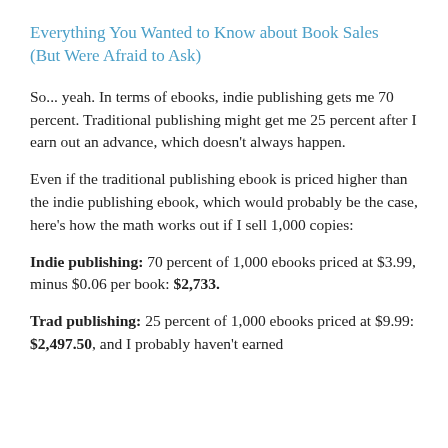Everything You Wanted to Know about Book Sales (But Were Afraid to Ask)
So... yeah. In terms of ebooks, indie publishing gets me 70 percent. Traditional publishing might get me 25 percent after I earn out an advance, which doesn't always happen.
Even if the traditional publishing ebook is priced higher than the indie publishing ebook, which would probably be the case, here's how the math works out if I sell 1,000 copies:
Indie publishing: 70 percent of 1,000 ebooks priced at $3.99, minus $0.06 per book: $2,733.
Trad publishing: 25 percent of 1,000 ebooks priced at $9.99: $2,497.50, and I probably haven't earned out my advance, so it's actually $0.